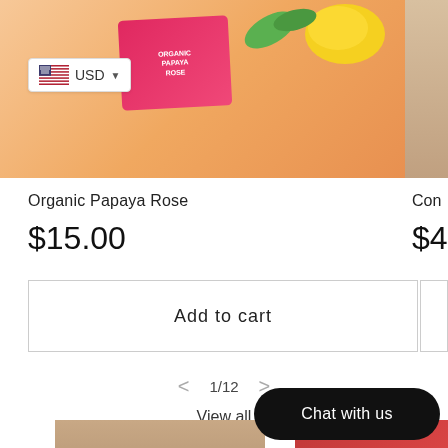[Figure (photo): Product photo of Organic Papaya Rose skincare product with pink label, green leaves, and yellow fruit on orange background, partially cropped. Gray placeholder box top-left. USD currency selector badge visible.]
USD
Organic Papaya Rose
$15.00
Con
$4
Add to cart
1/12
View all
[Figure (photo): Close-up photo of woman's face showing eye makeup, partially visible at bottom of page.]
[Figure (photo): Red/orange product or cosmetic image, partially visible at bottom right.]
Chat with us